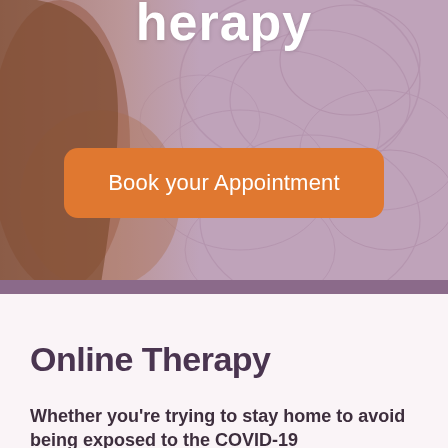[Figure (photo): Hero banner section showing a woman with long hair holding a pen, with a decorative purple/mauve swirl background. A partially visible title 'Therapy' appears at the top (cut off). An orange rounded button reads 'Book your Appointment'.]
Book your Appointment
Online Therapy
Whether you're trying to stay home to avoid being exposed to the COVID-19…